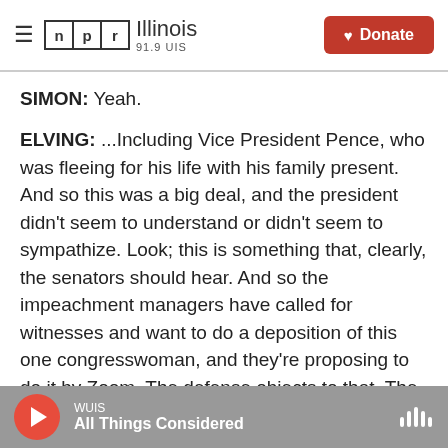NPR Illinois 91.9 UIS | Donate
SIMON: Yeah.
ELVING: ...Including Vice President Pence, who was fleeing for his life with his family present. And so this was a big deal, and the president didn't seem to understand or didn't seem to sympathize. Look; this is something that, clearly, the senators should hear. And so the impeachment managers have called for witnesses and want to do a deposition of this one congresswoman, and they're proposing to do it by Zoom. The defense objects to that. The defense says, well, we can call hundreds of witnesses.
WUIS | All Things Considered